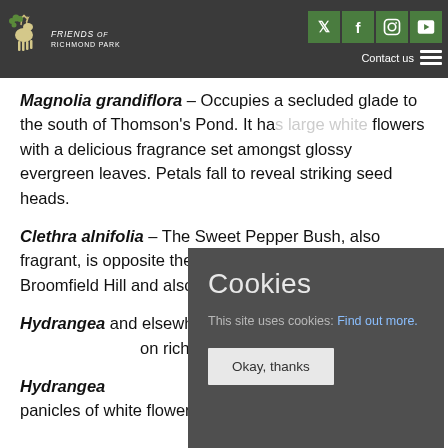Friends of Richmond Park – navigation bar with logo, social icons (Twitter, Facebook, Instagram, YouTube), Contact us, hamburger menu
Magnolia grandiflora – Occupies a secluded glade to the south of Thomson's Pond. It has large white flowers with a delicious fragrance set amongst glossy evergreen leaves. Petals fall to reveal striking seed heads.
Clethra alnifolia – The Sweet Pepper Bush, also fragrant, is opposite the tall pine below the gate to Broomfield Hill and also below Thomson's Pond.
Hydrangea [...]  and elsewhere [...] foliage rese[...] on rich Aut[...]
Hydrangea [...] panicles of white flowers and is set in woodland
[Figure (screenshot): Cookie consent popup overlay with dark grey background. Title 'Cookies', body text 'This site uses cookies: Find out more.', and an 'Okay, thanks' button.]